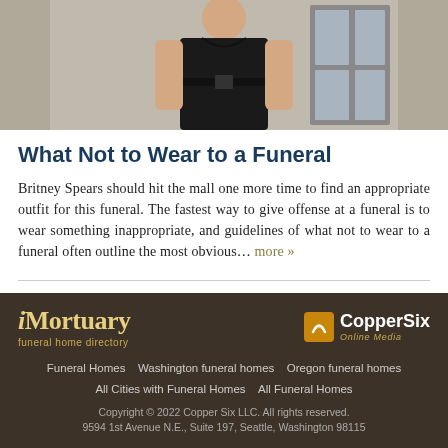[Figure (photo): Photo of a person (Britney Spears) in a dark outfit, cropped at the torso, shown from above against a light background]
What Not to Wear to a Funeral
Britney Spears should hit the mall one more time to find an appropriate outfit for this funeral. The fastest way to give offense at a funeral is to wear something inappropriate, and guidelines of what not to wear to a funeral often outline the most obvious… more »
iMortuary funeral home directory | CopperSix Online Media | Funeral Homes | Washington funeral homes | Oregon funeral homes | All Cities with Funeral Homes | All Funeral Homes | Copyright © 2022 Copper Six LLC. All rights reserved. 9594 1st Avenue N.E., Suite 197, Seattle, Washington 98115